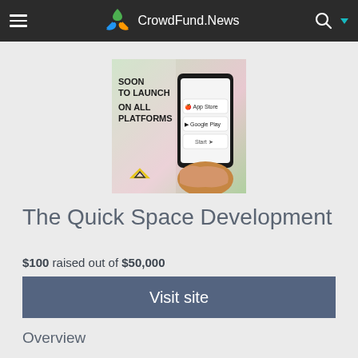CrowdFund.News
[Figure (screenshot): App promotional image showing 'SOON TO LAUNCH ON ALL PLATFORMS' text with a hand holding a smartphone displaying App Store and Google Play download options, with a logo at the bottom.]
The Quick Space Development
$100 raised out of $50,000
Visit site
Overview